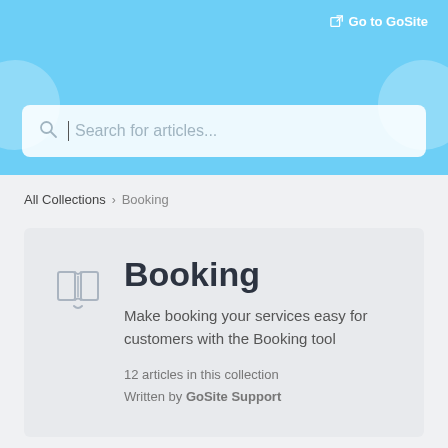Go to GoSite
[Figure (screenshot): Search bar with placeholder text 'Search for articles...' on a light blue background]
All Collections > Booking
Booking
Make booking your services easy for customers with the Booking tool
12 articles in this collection
Written by GoSite Support